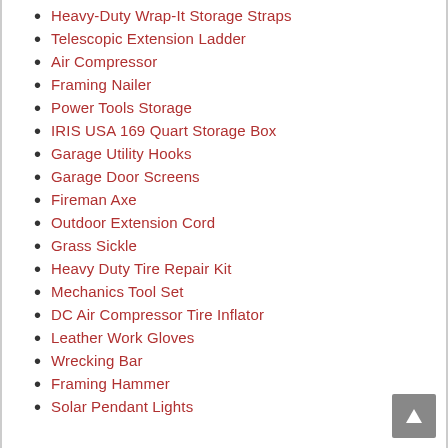Heavy-Duty Wrap-It Storage Straps
Telescopic Extension Ladder
Air Compressor
Framing Nailer
Power Tools Storage
IRIS USA 169 Quart Storage Box
Garage Utility Hooks
Garage Door Screens
Fireman Axe
Outdoor Extension Cord
Grass Sickle
Heavy Duty Tire Repair Kit
Mechanics Tool Set
DC Air Compressor Tire Inflator
Leather Work Gloves
Wrecking Bar
Framing Hammer
Solar Pendant Lights